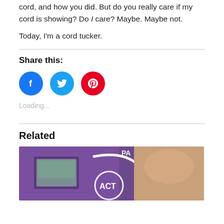cord, and how you did. But do you really care if my cord is showing? Do I care? Maybe. Maybe not.
Today, I'm a cord tucker.
Share this:
[Figure (infographic): Social share buttons: Facebook (blue circle), Twitter (light blue circle), Pinterest (red circle)]
Loading...
Related
[Figure (photo): Close-up photo of a purple insulin pump device with a tubing cord and a hand holding it, with ACT logo visible]